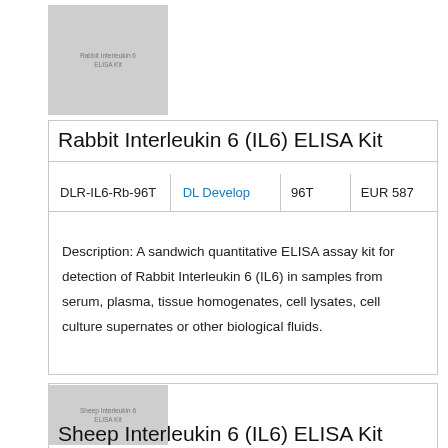[Figure (photo): Rabbit Interleukin 6 (IL6) ELISA Kit product image placeholder, gray background with label text]
Rabbit Interleukin 6 (IL6) ELISA Kit
| DLR-IL6-Rb-96T | DL Develop | 96T | EUR 587 |
| --- | --- | --- | --- |
Description: A sandwich quantitative ELISA assay kit for detection of Rabbit Interleukin 6 (IL6) in samples from serum, plasma, tissue homogenates, cell lysates, cell culture supernates or other biological fluids.
[Figure (photo): Sheep Interleukin 6 (IL6) ELISA Kit product image placeholder, gray background with label text]
Sheep Interleukin 6 (IL6) ELISA Kit